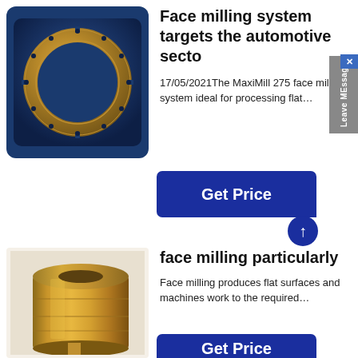[Figure (photo): Circular ring-shaped metal milling cutter component on a dark blue background]
Face milling system targets the automotive sector
17/05/2021The MaxiMill 275 face milling system ideal for processing flat…
[Figure (other): Get Price button with arrow]
[Figure (photo): Cylindrical brass-colored metal workpiece or bushing component]
face milling particularly
Face milling produces flat surfaces and machines work to the required…
[Figure (other): Get Price button (partially visible at bottom)]